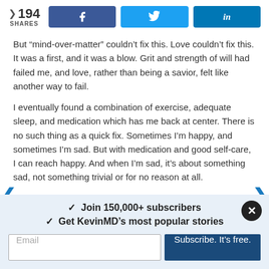[Figure (infographic): Social share bar showing 194 shares with Facebook, Twitter, and LinkedIn share buttons]
But “mind-over-matter” couldn’t fix this. Love couldn’t fix this. It was a first, and it was a blow. Grit and strength of will had failed me, and love, rather than being a savior, felt like another way to fail.
I eventually found a combination of exercise, adequate sleep, and medication which has me back at center. There is no such thing as a quick fix. Sometimes I’m happy, and sometimes I’m sad. But with medication and good self-care, I can reach happy. And when I’m sad, it’s about something sad, not something trivial or for no reason at all.
✓  Join 150,000+ subscribers
✓  Get KevinMD’s most popular stories
Email
Subscribe. It’s free.